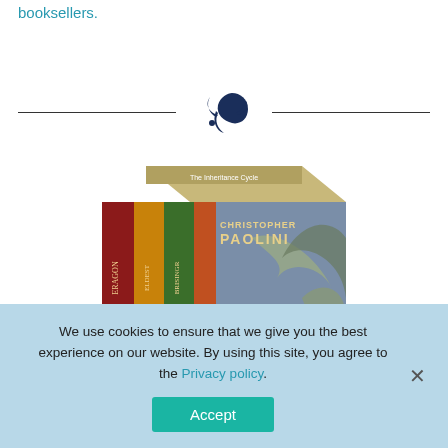booksellers.
[Figure (illustration): Decorative swirl/emblem divider element in dark navy blue, centered between two horizontal lines]
[Figure (photo): Christopher Paolini book box set showing multiple fantasy book covers with colorful creature illustrations and a dragon on the side panel]
We use cookies to ensure that we give you the best experience on our website. By using this site, you agree to the Privacy policy.
Accept